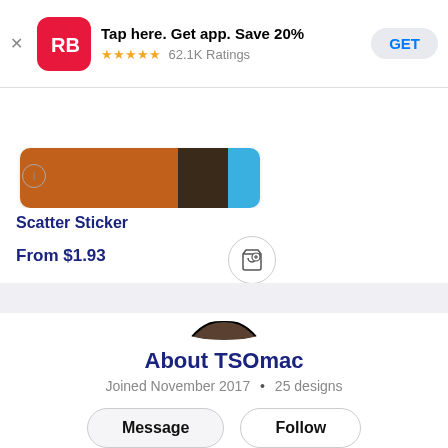[Figure (screenshot): App store banner ad for Redbubble app with RB logo, 5-star rating, 62.1K Ratings, and GET button]
Tap here. Get app. Save 20%
★★★★★ 62.1K Ratings
[Figure (screenshot): Partial product image showing sticker design in brown, dark, and blue colors]
Scatter Sticker
From $1.93
[Figure (illustration): Circular avatar photo of TSOmac showing a dark figure with textured background]
About TSOmac
Joined November 2017 • 25 designs
Message
Follow